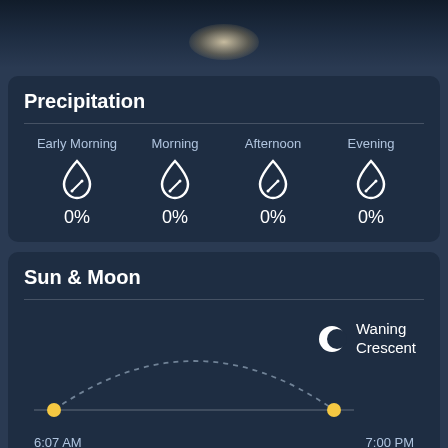[Figure (illustration): Dark night sky top banner with glowing light/moon in center]
Precipitation
| Early Morning | Morning | Afternoon | Evening |
| --- | --- | --- | --- |
| 0% | 0% | 0% | 0% |
Sun & Moon
[Figure (infographic): Sun arc diagram showing sunrise at 6:07 AM and sunset at 7:00 PM with dashed arc, plus Waning Crescent moon phase indicator]
6:07 AM
7:00 PM
Waning Crescent
Wind & Pressure